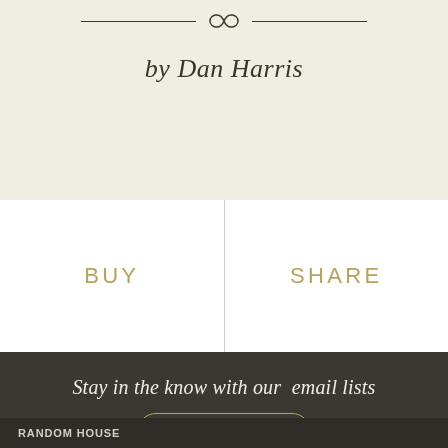by Dan Harris
BUY
SHARE
Stay in the know with our email lists
SIGN UP
Learn more about our email lists
RANDOM HOUSE